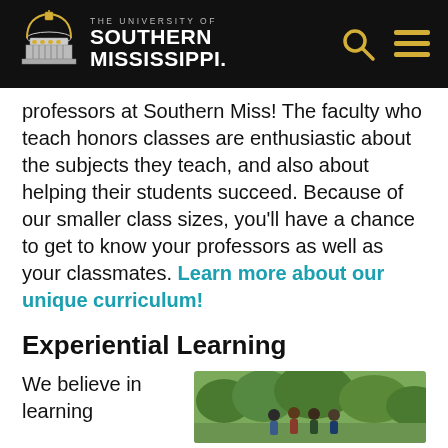THE UNIVERSITY OF SOUTHERN MISSISSIPPI
professors at Southern Miss! The faculty who teach honors classes are enthusiastic about the subjects they teach, and also about helping their students succeed. Because of our smaller class sizes, you'll have a chance to get to know your professors as well as your classmates. Learn more about our unique curriculum!
Experiential Learning
We believe in learning
[Figure (photo): Group of people outdoors in a wooded/green area]